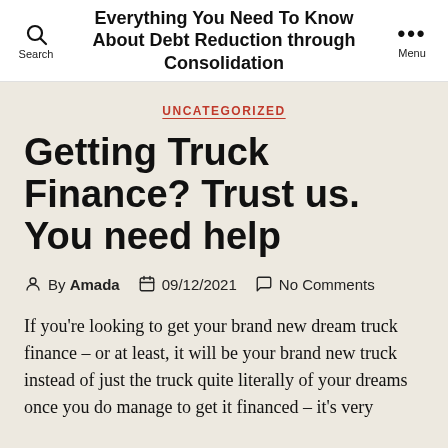Everything You Need To Know About Debt Reduction through Consolidation
UNCATEGORIZED
Getting Truck Finance? Trust us. You need help
By Amada   09/12/2021   No Comments
If you're looking to get your brand new dream truck finance – or at least, it will be your brand new truck instead of just the truck quite literally of your dreams once you do manage to get it financed – it's very